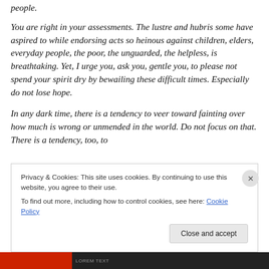people.
You are right in your assessments. The lustre and hubris some have aspired to while endorsing acts so heinous against children, elders, everyday people, the poor, the unguarded, the helpless, is breathtaking. Yet, I urge you, ask you, gentle you, to please not spend your spirit dry by bewailing these difficult times. Especially do not lose hope.
In any dark time, there is a tendency to veer toward fainting over how much is wrong or unmended in the world. Do not focus on that. There is a tendency, too, to
Privacy & Cookies: This site uses cookies. By continuing to use this website, you agree to their use.
To find out more, including how to control cookies, see here: Cookie Policy